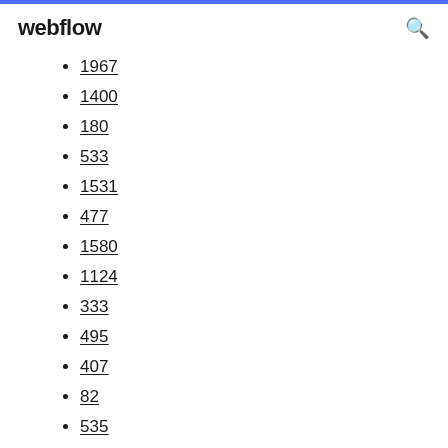webflow
1967
1400
180
533
1531
477
1580
1124
333
495
407
82
535